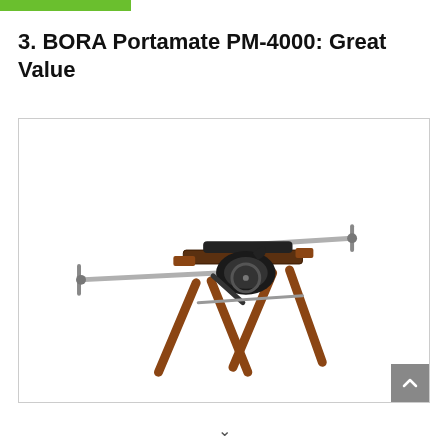[Figure (other): Green decorative bar at top of page]
3. BORA Portamate PM-4000: Great Value
[Figure (photo): Photo of BORA Portamate PM-4000 miter saw stand with wooden legs and metal support arms extending on both sides, displayed on white background inside a light-bordered box]